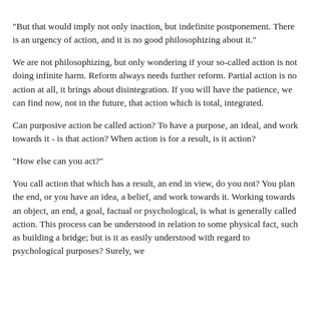"But that would imply not only inaction, but indefinite postponement. There is an urgency of action, and it is no good philosophizing about it."
We are not philosophizing, but only wondering if your so-called action is not doing infinite harm. Reform always needs further reform. Partial action is no action at all, it brings about disintegration. If you will have the patience, we can find now, not in the future, that action which is total, integrated.
Can purposive action be called action? To have a purpose, an ideal, and work towards it - is that action? When action is for a result, is it action?
"How else can you act?"
You call action that which has a result, an end in view, do you not? You plan the end, or you have an idea, a belief, and work towards it. Working towards an object, an end, a goal, factual or psychological, is what is generally called action. This process can be understood in relation to some physical fact, such as building a bridge; but is it as easily understood with regard to psychological purposes? Surely, we